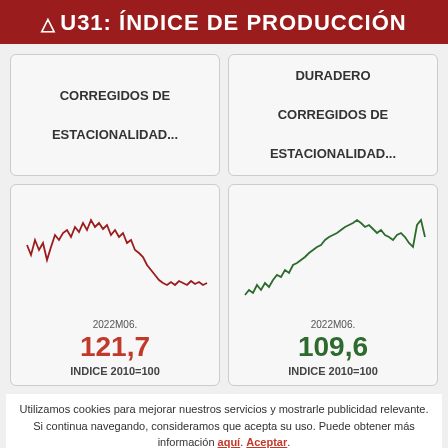△ U31: ÍNDICE DE PRODUCCIÓN
CORREGIDOS DE ESTACIONALIDAD...
DURADERO CORREGIDOS DE ESTACIONALIDAD...
[Figure (continuous-plot): Line chart showing production index (red line), downward trend, ending at 2022M06 with value 121,7]
[Figure (continuous-plot): Line chart showing durable goods production index (green line), upward trend, ending at 2022M06 with value 109,6]
Utilizamos cookies para mejorar nuestros servicios y mostrarle publicidad relevante. Si continua navegando, consideramos que acepta su uso. Puede obtener más información aquí. Aceptar.